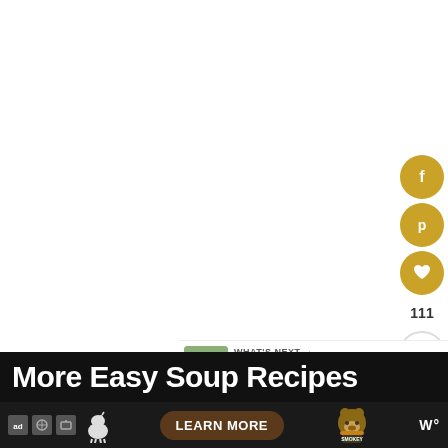[Figure (screenshot): White blank content area — main article image area, appears empty/loading]
[Figure (infographic): Social sharing sidebar buttons: Facebook (f), Pinterest (p), Heart/Save with count 111, and Share (+) buttons in gold circles on the right edge]
[Figure (screenshot): What's Next bar showing a thumbnail of Chicken Florentine recipe with label 'WHAT'S NEXT →' and title 'Chicken Florentine...']
More Easy Soup Recipes
[Figure (screenshot): Advertisement bar at bottom: 'ad' icon, leaf/snowflake icons, goat illustration, 'LEARN MORE' brown pill button, Smokey Bear mascot illustration, and 'W°' logo on dark background]